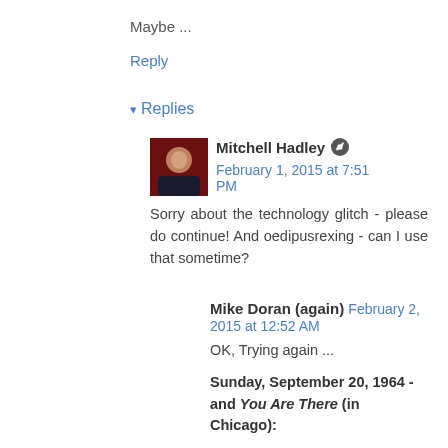Maybe ...
Reply
Replies
Mitchell Hadley  February 1, 2015 at 7:51 PM
Sorry about the technology glitch - please do continue! And oedipusrexing - can I use that sometime?
Mike Doran (again)  February 2, 2015 at 12:52 AM
OK, Trying again ...
Sunday, September 20, 1964 - and You Are There (in Chicago):
WBKB, channel 7 - ABC::